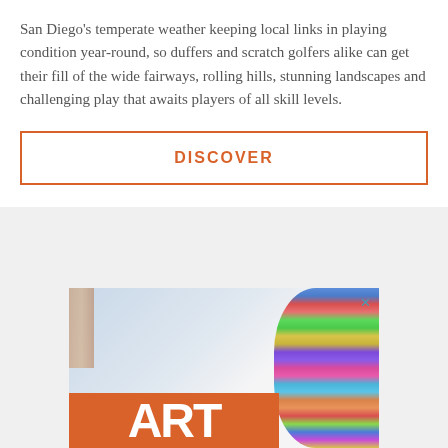San Diego's temperate weather keeping local links in playing condition year-round, so duffers and scratch golfers alike can get their fill of the wide fairways, rolling hills, stunning landscapes and challenging play that awaits players of all skill levels.
DISCOVER
[Figure (photo): Advertisement image showing a room interior with wood shelving on the left, a colorful decorative object on the right, and a large orange banner at the bottom with white letters 'ART'. A teal X close button appears in the top right corner.]